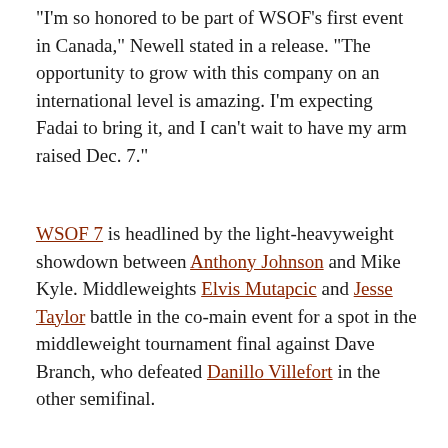"I'm so honored to be part of WSOF's first event in Canada," Newell stated in a release. "The opportunity to grow with this company on an international level is amazing. I'm expecting Fadai to bring it, and I can't wait to have my arm raised Dec. 7."
WSOF 7 is headlined by the light-heavyweight showdown between Anthony Johnson and Mike Kyle. Middleweights Elvis Mutapcic and Jesse Taylor battle in the co-main event for a spot in the middleweight tournament final against Dave Branch, who defeated Danillo Villefort in the other semifinal.